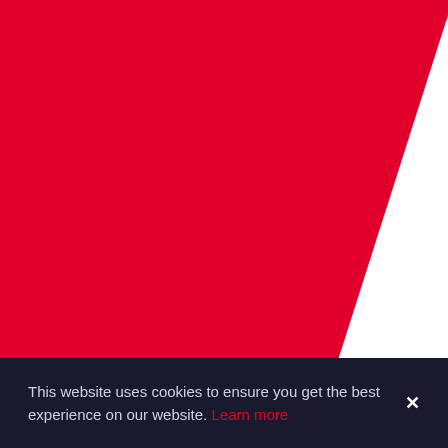[Figure (illustration): Large diagonal red triangle occupying the left and top portion of the page against a white background, creating a bold geometric design.]
[Figure (other): Hamburger menu icon (three horizontal red lines) in the top-right corner of the page.]
This website uses cookies to ensure you get the best experience on our website. Learn more